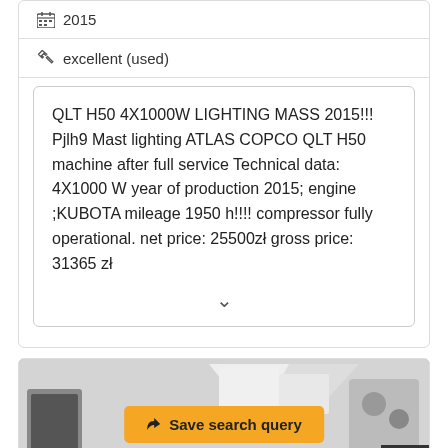2015
excellent (used)
QLT H50 4X1000W LIGHTING MASS 2015!!! Pjlh9 Mast lighting ATLAS COPCO QLT H50 machine after full service Technical data: 4X1000 W year of production 2015; engine ;KUBOTA mileage 1950 h!!!! compressor fully operational. net price: 25500zł gross price: 31365 zł
[Figure (photo): Photo of industrial lighting equipment/machinery, with a yellow 'Save search query' button overlay and a dark up-arrow scroll button in the bottom right corner.]